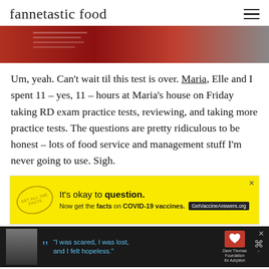fannetastic food
[Figure (photo): Partial photo of a person studying at a table, wearing red, with books/papers visible]
Um, yeah. Can't wait til this test is over. Maria, Elle and I spent 11 – yes, 11 – hours at Maria's house on Friday taking RD exam practice tests, reviewing, and taking more practice tests. The questions are pretty ridiculous to be honest – lots of food service and management stuff I'm never going to use. Sigh.
[Figure (screenshot): Yellow advertisement banner: It's okay to question. Now get the facts on COVID-19 vaccines. GetVaccineAnswers.org]
[Figure (screenshot): Dark advertisement banner: 'I was scared, I was lost, and I felt hopeless.' Dave Thomas Foundation for Adoption logo, with photo of a woman and a weather channel logo]